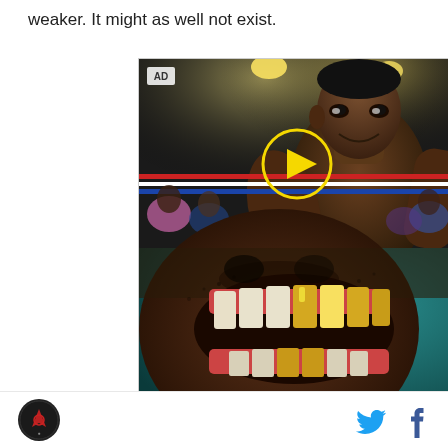weaker. It might as well not exist.
[Figure (screenshot): AD video thumbnail showing a boxer in a boxing ring (top half) and a close-up of a mouth with gold teeth on a teal background (bottom half) with text 'YOU MAY KNOW TYSON, BUT DO YOU KNOW MIKE?' in yellow. A play button circle is overlaid on the top image.]
Logo icon on left, Twitter and Facebook share icons on right